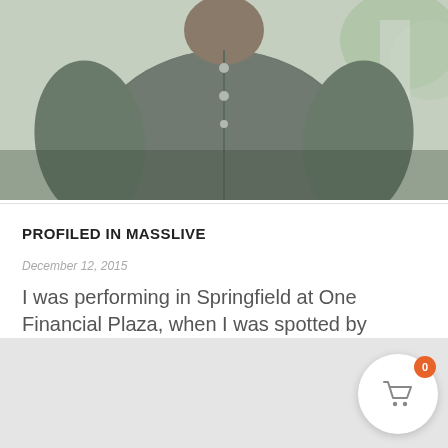[Figure (photo): Photo of a man wearing a grey henley button-up shirt, cropped to show torso and shoulders. Background is slightly blurred outdoor scene.]
PROFILED IN MASSLIVE
December 12, 2015
I was performing in Springfield at One Financial Plaza, when I was spotted by reporter Shaina [...]
› Read More
[Figure (screenshot): Bottom portion of page showing a grey placeholder area, a scroll-to-top arrow button, comment icon with 0, email envelope button, and a shopping cart widget with orange badge showing 0.]